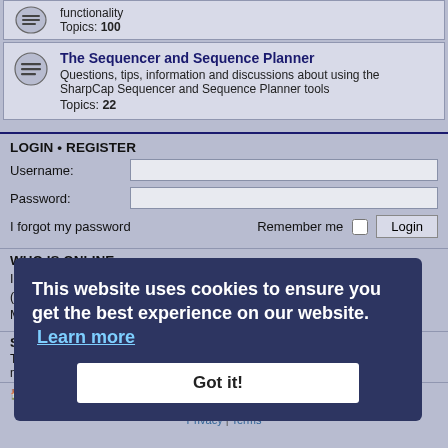[Figure (screenshot): Partial forum item showing Topics: 100]
The Sequencer and Sequence Planner
Questions, tips, information and discussions about using the SharpCap Sequencer and Sequence Planner tools
Topics: 22
LOGIN • REGISTER
Username:
Password:
I forgot my password
Remember me
WHO IS ONLINE
In total there are 20 users online :: 5 registered, 0 hidden and 15 guests (based on users active over the past 5 minutes)
Most users ever online was 584 on Wed Jan 15, 2020 4:37 pm
STATISTICS
Total posts 28690 • Total topics 3760 • Total members 4128 • Our newest member
SharpCap • Forums • Contact us • Delete cookies   All times are UTC
Powered by phpBB® Forum Software © phpBB Limited
Privacy | Terms
This website uses cookies to ensure you get the best experience on our website. Learn more
Got it!